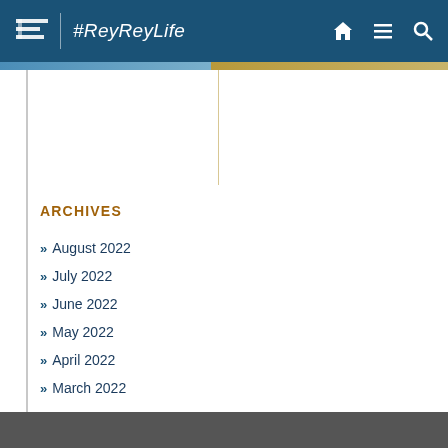#ReyReyLife
ARCHIVES
August 2022
July 2022
June 2022
May 2022
April 2022
March 2022